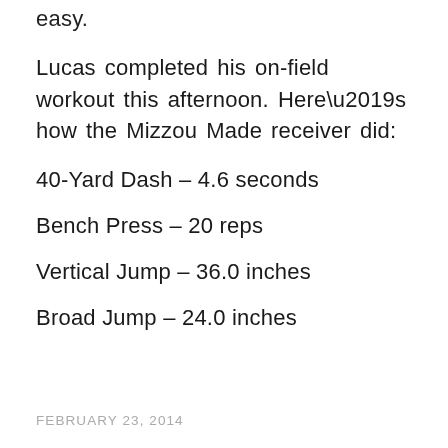easy.
Lucas completed his on-field workout this afternoon. Here’s how the Mizzou Made receiver did:
40-Yard Dash – 4.6 seconds
Bench Press – 20 reps
Vertical Jump – 36.0 inches
Broad Jump – 24.0 inches
FEBRUARY 23, 2014